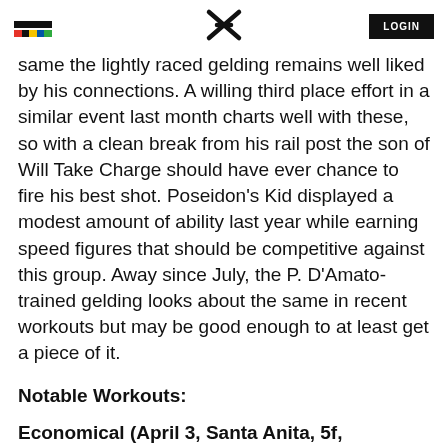LOGIN
...same the lightly raced gelding remains well liked by his connections. A willing third place effort in a similar event last month charts well with these, so with a clean break from his rail post the son of Will Take Charge should have ever chance to fire his best shot. Poseidon's Kid displayed a modest amount of ability last year while earning speed figures that should be competitive against this group. Away since July, the P. D'Amato-trained gelding looks about the same in recent workouts but may be good enough to at least get a piece of it.
Notable Workouts:
Economical (April 3, Santa Anita, 5f, 1:01.3hg). Grade: B-
Gate drill outside Steel Nerves (same time) for S. McCarthy and didn't do badly for a maiden-